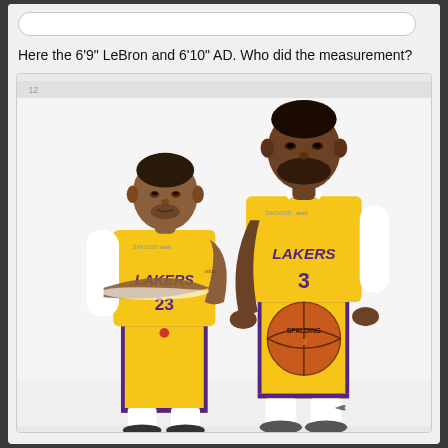Here the 6'9" LeBron and 6'10" AD. Who did the measurement?
[Figure (photo): Two NBA players wearing Los Angeles Lakers yellow jerseys standing side by side. Left player wears number 23 (LeBron James) with arms crossed, right player wears number 3 (Anthony Davis) holding a Spalding basketball. Both wear white shorts with purple trim.]